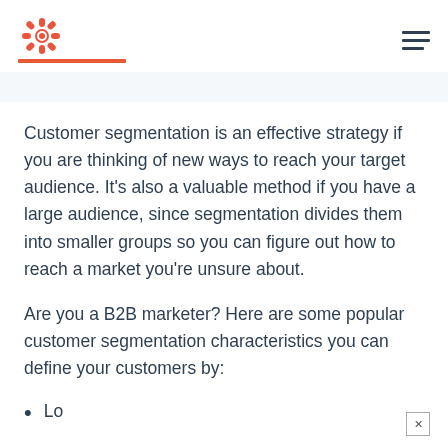HubSpot logo and navigation
Customer segmentation is an effective strategy if you are thinking of new ways to reach your target audience. It's also a valuable method if you have a large audience, since segmentation divides them into smaller groups so you can figure out how to reach a market you're unsure about.
Are you a B2B marketer? Here are some popular customer segmentation characteristics you can define your customers by:
Lo